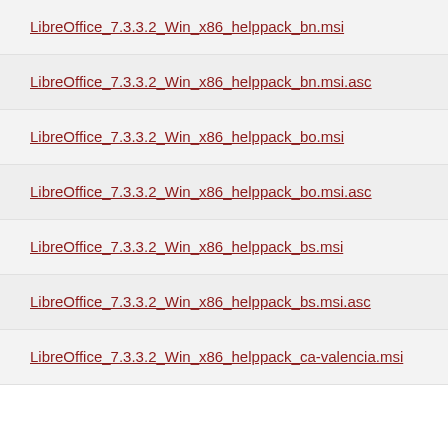LibreOffice_7.3.3.2_Win_x86_helppack_bn.msi
LibreOffice_7.3.3.2_Win_x86_helppack_bn.msi.asc
LibreOffice_7.3.3.2_Win_x86_helppack_bo.msi
LibreOffice_7.3.3.2_Win_x86_helppack_bo.msi.asc
LibreOffice_7.3.3.2_Win_x86_helppack_bs.msi
LibreOffice_7.3.3.2_Win_x86_helppack_bs.msi.asc
LibreOffice_7.3.3.2_Win_x86_helppack_ca-valencia.msi